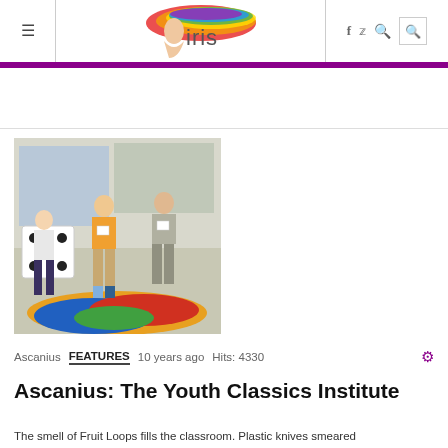iris — navigation header with logo, hamburger menu, social icons, and search
[Figure (photo): Children in a classroom standing on a colorful floor map. One child holds a large inflatable die. Children are wearing name tags.]
Ascanius   FEATURES   10 years ago   Hits: 4330
Ascannius: The Youth Classics Institute
The smell of Fruit Loops fills the classroom. Plastic knives smeared